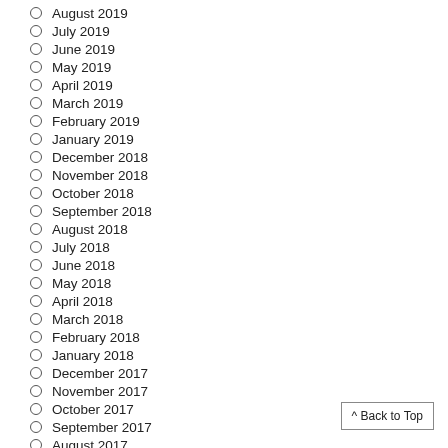August 2019
July 2019
June 2019
May 2019
April 2019
March 2019
February 2019
January 2019
December 2018
November 2018
October 2018
September 2018
August 2018
July 2018
June 2018
May 2018
April 2018
March 2018
February 2018
January 2018
December 2017
November 2017
October 2017
September 2017
August 2017
^ Back to Top